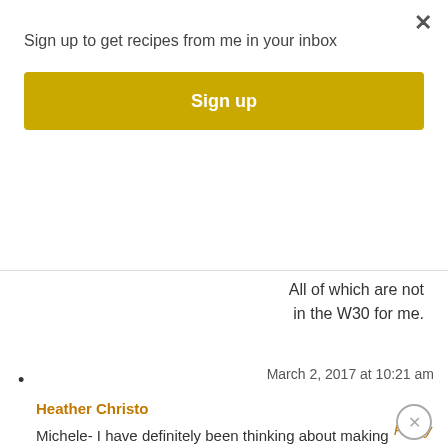Sign up to get recipes from me in your inbox
[Figure (other): Golden/yellow Sign up button]
All of which are not in the W30 for me.
March 2, 2017 at 10:21 am
Heather Christo
Michele- I have definitely been thinking about making hashes- that will probably be the easiest plus dinner leftovers are feeling not very exciting!
Reply